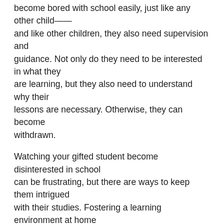become bored with school easily, just like any other child—– and like other children, they also need supervision and guidance. Not only do they need to be interested in what they are learning, but they also need to understand why their lessons are necessary. Otherwise, they can become withdrawn.
Watching your gifted student become disinterested in school can be frustrating, but there are ways to keep them intrigued with their studies. Fostering a learning environment at home will help them stay engaged with their learning.
Learn how to keep your gifted child engaged at home!
Physical Activity
Even though it may initially seem counterintuitive, don't put kids back into schoolwork when they get home from school;